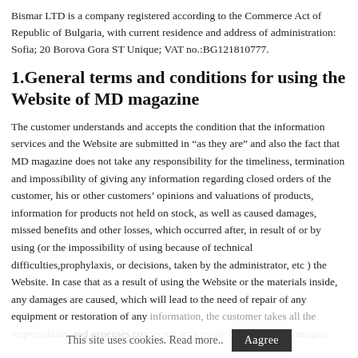Bismar LTD is a company registered according to the Commerce Act of Republic of Bulgaria, with current residence and address of administration: Sofia; 20 Borova Gora ST Unique; VAT no.:BG121810777.
1.General terms and conditions for using the Website of MD magazine
The customer understands and accepts the condition that the information services and the Website are submitted in “as they are” and also the fact that MD magazine does not take any responsibility for the timeliness, termination and impossibility of giving any information regarding closed orders of the customer, his or other customers’ opinions and valuations of products, information for products not held on stock, as well as caused damages, missed benefits and other losses, which occurred after, in result of or by using (or the impossibility of using because of technical difficulties,prophylaxis, or decisions, taken by the administrator, etc ) the Website. In case that as a result of using the Website or the materials inside, any damages are caused, which will lead to the need of repair of any equipment or restoration of any information, the customer takes all the responsibility and expenses connected with repair of the caused damages.
This site uses cookies. Read more..   Aagree